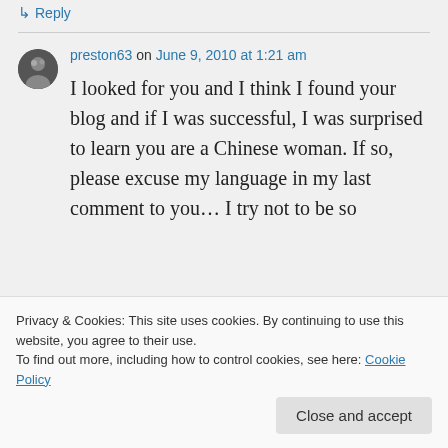↳ Reply
preston63 on June 9, 2010 at 1:21 am
I looked for you and I think I found your blog and if I was successful, I was surprised to learn you are a Chinese woman. If so, please excuse my language in my last comment to you… I try not to be so
Privacy & Cookies: This site uses cookies. By continuing to use this website, you agree to their use. To find out more, including how to control cookies, see here: Cookie Policy
Close and accept